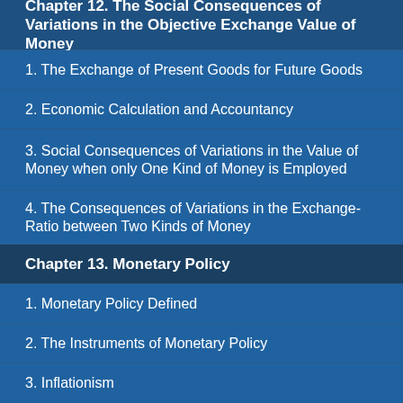Chapter 12. The Social Consequences of Variations in the Objective Exchange Value of Money
1. The Exchange of Present Goods for Future Goods
2. Economic Calculation and Accountancy
3. Social Consequences of Variations in the Value of Money when only One Kind of Money is Employed
4. The Consequences of Variations in the Exchange-Ratio between Two Kinds of Money
Chapter 13. Monetary Policy
1. Monetary Policy Defined
2. The Instruments of Monetary Policy
3. Inflationism